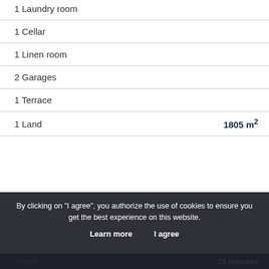1 Laundry room
1 Cellar
1 Linen room
2 Garages
1 Terrace
1 Land   1805 m²
By clicking on "I agree", you authorize the use of cookies to ensure you get the best experience on this website.
Learn more   I agree
Airport   25 minutes